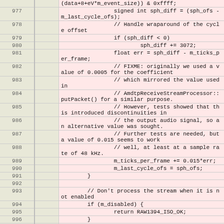[Figure (screenshot): Source code listing showing lines 977-997 of a C++ file with pink/red background highlighting, monospace font, line numbers in left column, blank middle column, code content in right column. Code deals with SPH (Sample Phase Header) offset calculations and cycle wraparound handling in an audio streaming context.]